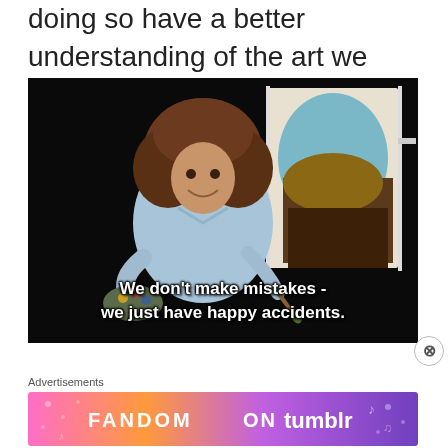doing so have a better understanding of the art we love so much: Karate.
[Figure (photo): Screenshot of Bob Ross painting with subtitle text: 'We don't make mistakes - we just have happy accidents.']
We don't make mistakes - we just have happy accidents.
Advertisements
[Figure (other): Advertisement banner: FANDOM ON tumblr with colorful music/fandom graphics]